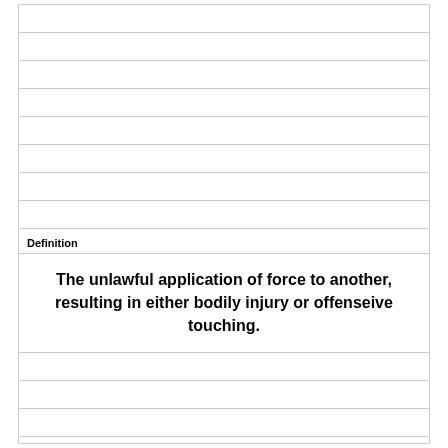Definition
The unlawful application of force to another, resulting in either bodily injury or offenseive touching.
Term
Criminal Assault